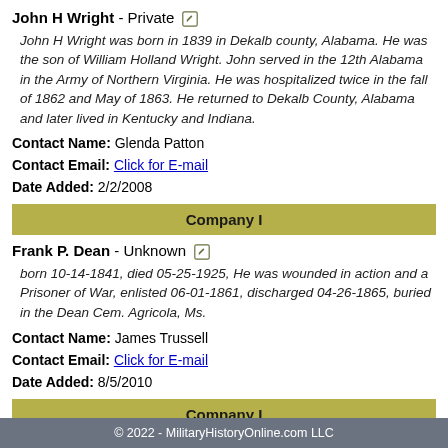John H Wright - Private
John H Wright was born in 1839 in Dekalb county, Alabama. He was the son of William Holland Wright. John served in the 12th Alabama in the Army of Northern Virginia. He was hospitalized twice in the fall of 1862 and May of 1863. He returned to Dekalb County, Alabama and later lived in Kentucky and Indiana.
Contact Name: Glenda Patton
Contact Email: Click for E-mail
Date Added: 2/2/2008
Company I
Frank P. Dean - Unknown
born 10-14-1841, died 05-25-1925, He was wounded in action and a Prisoner of War, enlisted 06-01-1861, discharged 04-26-1865, buried in the Dean Cem. Agricola, Ms.
Contact Name: James Trussell
Contact Email: Click for E-mail
Date Added: 8/5/2010
Company I
© 2022 - MilitaryHistoryOnline.com LLC